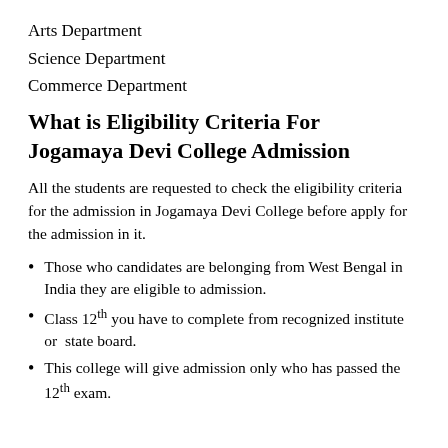Arts Department
Science Department
Commerce Department
What is Eligibility Criteria For Jogamaya Devi College Admission
All the students are requested to check the eligibility criteria for the admission in Jogamaya Devi College before apply for the admission in it.
Those who candidates are belonging from West Bengal in India they are eligible to admission.
Class 12th you have to complete from recognized institute or  state board.
This college will give admission only who has passed the 12th exam.